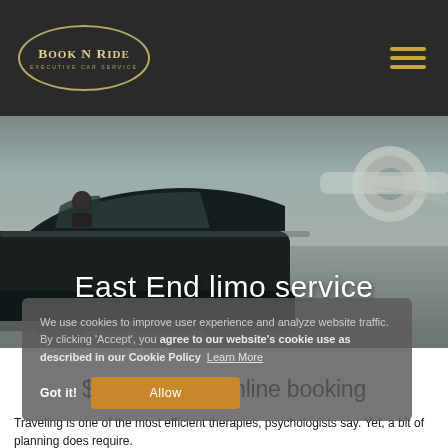[Figure (logo): Book N Ride Executive Car Service logo inside an oval border with gold/yellow text]
[Figure (photo): Hero background photo of a dark luxury car with a driver at tarmac near a private jet aircraft]
East End limo service
We use cookies to improve user experience and analyze website traffic. By clicking ‘Accept’, you agree to our website’s cookie use as described in our Cookie Policy  Learn More
$15.00 off for online booking
Traveling is one of the most efficient therapies, psychologists say. Yet, a bit of planning does require.